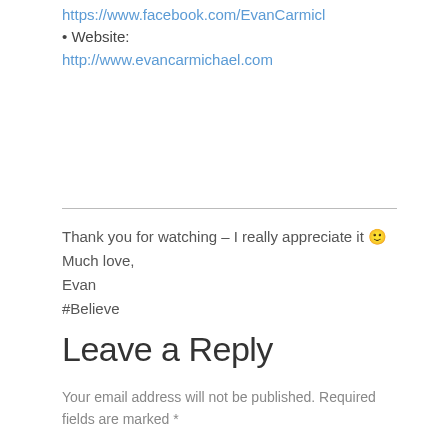https://www.facebook.com/EvanCarmicl
• Website: http://www.evancarmichael.com
Thank you for watching – I really appreciate it 🙂
Much love,
Evan
#Believe
Leave a Reply
Your email address will not be published. Required fields are marked *